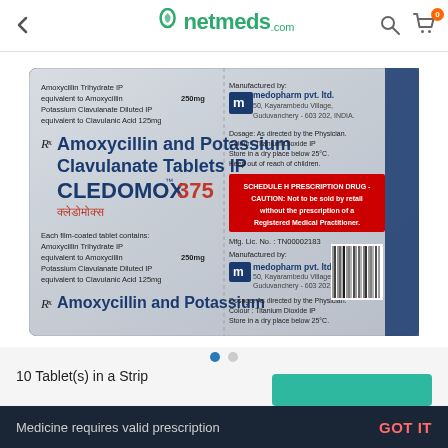netmeds.com
[Figure (photo): Cledomox 375 Amoxycillin and Potassium Clavulanate Tablets IP medicine strip packaging showing front and back of blister pack with product details, manufacturer info from medopharm pvt. ltd., schedule H prescription drug warning in red box]
10 Tablet(s) in a Strip
Medicine requires valid prescription
GOT IT